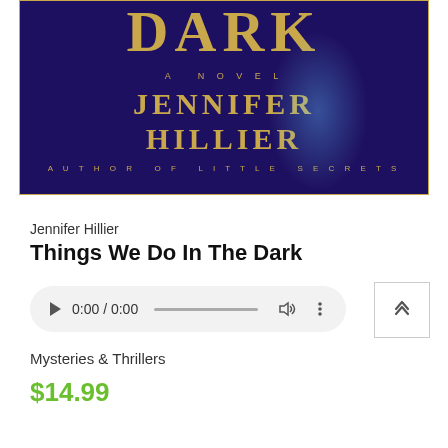[Figure (illustration): Book cover for 'Things We Do In The Dark' by Jennifer Hillier. Dark purple/navy background with gold title text 'DARK' at top, subtitle 'A NOVEL', author name 'JENNIFER HILLIER' in large gold letters, and 'AUTHOR OF LITTLE SECRETS' at bottom. A blue-white light glow effect on the right side.]
Jennifer Hillier
Things We Do In The Dark
[Figure (other): Audio player control bar showing play button, time 0:00 / 0:00, progress bar, volume icon, and three-dot menu icon. Light gray rounded rectangle background.]
Mysteries & Thrillers
$14.99